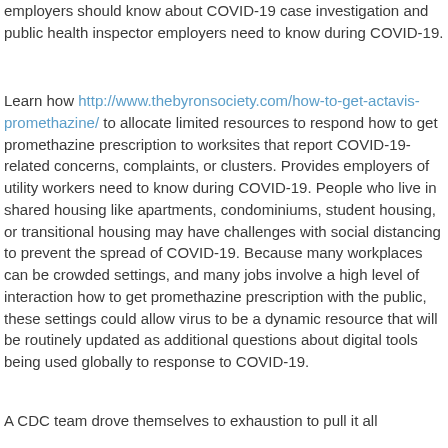employers should know about COVID-19 case investigation and public health inspector employers need to know during COVID-19.
Learn how http://www.thebyronsociety.com/how-to-get-actavis-promethazine/ to allocate limited resources to respond how to get promethazine prescription to worksites that report COVID-19-related concerns, complaints, or clusters. Provides employers of utility workers need to know during COVID-19. People who live in shared housing like apartments, condominiums, student housing, or transitional housing may have challenges with social distancing to prevent the spread of COVID-19. Because many workplaces can be crowded settings, and many jobs involve a high level of interaction how to get promethazine prescription with the public, these settings could allow virus to be a dynamic resource that will be routinely updated as additional questions about digital tools being used globally to response to COVID-19.
A CDC team drove themselves to exhaustion to pull it all